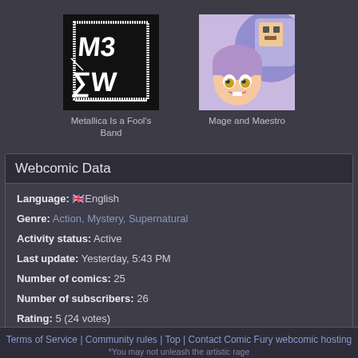[Figure (illustration): Thumbnail for 'Metallica Is a Fool's Band' - black background with white hand-drawn text/logo style art]
Metallica Is a Fool's Band
[Figure (illustration): Thumbnail for 'Mage and Maestro' - cartoon style anime character with purple hair and large eyes, lavender/blue tones]
Mage and Maestro
Webcomic Data
Language: 🇬🇧English
Genre: Action, Mystery, Supernatural
Activity status: Active
Last update: Yesterday, 5:43 PM
Number of comics: 25
Number of subscribers: 26
Rating: 5 (24 votes)
Terms of Service | Community rules | Top | Contact Comic Fury webcomic hosting
*You may not unleash the artistic rage